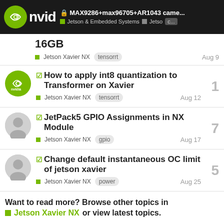MAX9286+max96705+AR1043 came... | Jetson & Embedded Systems | Jetson C...
16GB
Jetson Xavier NX  tensorrt  Aug 9
How to apply int8 quantization to Transformer on Xavier  |  1
Jetson Xavier NX  tensorrt  Aug 12
JetPack5 GPIO Assignments in NX Module  |  7
Jetson Xavier NX  gpio  Aug 17
Change default instantaneous OC limit of jetson xavier  |  5
Jetson Xavier NX  power  Aug 25
Want to read more? Browse other topics in Jetson Xavier NX or view latest topics.